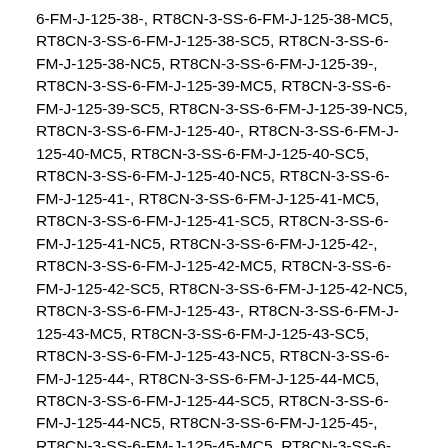6-FM-J-125-38-, RT8CN-3-SS-6-FM-J-125-38-MC5, RT8CN-3-SS-6-FM-J-125-38-SC5, RT8CN-3-SS-6-FM-J-125-38-NC5, RT8CN-3-SS-6-FM-J-125-39-, RT8CN-3-SS-6-FM-J-125-39-MC5, RT8CN-3-SS-6-FM-J-125-39-SC5, RT8CN-3-SS-6-FM-J-125-39-NC5, RT8CN-3-SS-6-FM-J-125-40-, RT8CN-3-SS-6-FM-J-125-40-MC5, RT8CN-3-SS-6-FM-J-125-40-SC5, RT8CN-3-SS-6-FM-J-125-40-NC5, RT8CN-3-SS-6-FM-J-125-41-, RT8CN-3-SS-6-FM-J-125-41-MC5, RT8CN-3-SS-6-FM-J-125-41-SC5, RT8CN-3-SS-6-FM-J-125-41-NC5, RT8CN-3-SS-6-FM-J-125-42-, RT8CN-3-SS-6-FM-J-125-42-MC5, RT8CN-3-SS-6-FM-J-125-42-SC5, RT8CN-3-SS-6-FM-J-125-42-NC5, RT8CN-3-SS-6-FM-J-125-43-, RT8CN-3-SS-6-FM-J-125-43-MC5, RT8CN-3-SS-6-FM-J-125-43-SC5, RT8CN-3-SS-6-FM-J-125-43-NC5, RT8CN-3-SS-6-FM-J-125-44-, RT8CN-3-SS-6-FM-J-125-44-MC5, RT8CN-3-SS-6-FM-J-125-44-SC5, RT8CN-3-SS-6-FM-J-125-44-NC5, RT8CN-3-SS-6-FM-J-125-45-, RT8CN-3-SS-6-FM-J-125-45-MC5, RT8CN-3-SS-6-FM-J-125-45-SC5, RT8CN-3-SS-6-FM-J-125-45-NC5, RT8CN-3-SS-6-FM-J-125-46-, RT8CN-3-SS-6-FM-J-125-46-MC5, RT8CN-3-SS-6-FM-J-125-46-SC5, RT8CN-3-SS-6-FM-J-125-46-NC5, RT8CN-3-SS-6-FM-J-125-47-, RT8CN-3-SS-6-FM-J-125-47-MC5, RT8CN-3-SS-6-FM-J-125-47-SC5, RT8CN-3-SS-6-FM-J-125-47-NC5, RT8CN-3-SS-6-FM-J-125-48-, RT8CN-3-SS-6-FM-J-125-48-MC5, RT8CN-3-SS-6-FM-J-125-48-SC5, RT8CN-3-SS-6-FM-J-125-48-NC5, RT8CN-3-SS-6-FM-J-125-